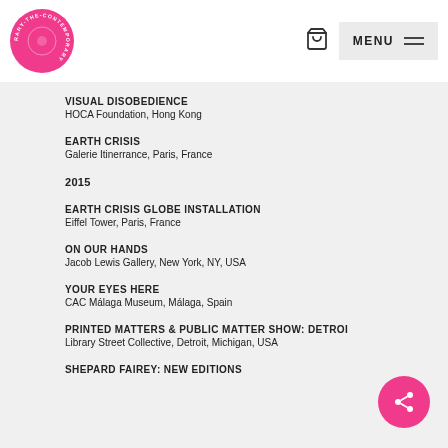[Figure (logo): Circular pink logo with white text readingRARY-THE-CONTEMPORARY arranged in a circle]
VISUAL DISOBEDIENCE
HOCA Foundation, Hong Kong
EARTH CRISIS
Galerie Itinerrance, Paris, France
2015
EARTH CRISIS GLOBE INSTALLATION
Eiffel Tower, Paris, France
ON OUR HANDS
Jacob Lewis Gallery, New York, NY, USA
YOUR EYES HERE
CAC Málaga Museum, Málaga, Spain
PRINTED MATTERS & PUBLIC MATTER SHOW: DETROIT
Library Street Collective, Detroit, Michigan, USA
SHEPARD FAIREY: NEW EDITIONS